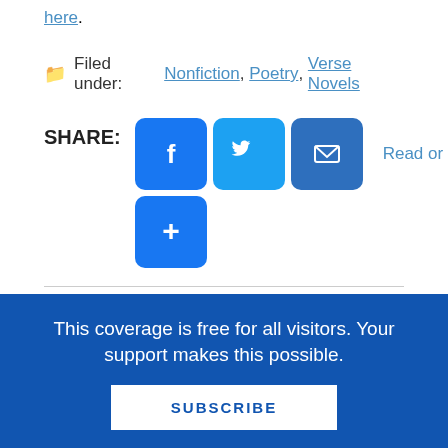here.
Filed under: Nonfiction, Poetry, Verse Novels
SHARE: [Facebook] [Twitter] [Email] [More] Read or Leave Comments
About Grace Enriquez
This coverage is free for all visitors. Your support makes this possible.
SUBSCRIBE